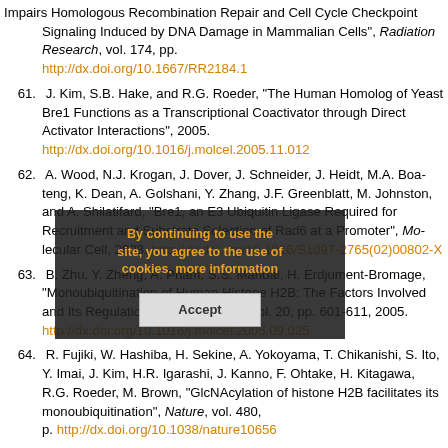Impairs Homologous Recombination Repair and Cell Cycle Checkpoint Signaling Induced by DNA Damage in Mammalian Cells", Radiation Research, vol. 174, pp. http://dx.doi.org/10.1667/RR2184.1
61. J. Kim, S.B. Hake, and R.G. Roeder, "The Human Homolog of Yeast BRE1 Functions as a Transcriptional Coactivator through Direct Activator Interactions", 2005. http://dx.doi.org/10.1016/j.molcel.2005.11.012
62. A. Wood, N.J. Krogan, J. Dover, J. Schneider, J. Heidt, M.A. Boateng, K. Dean, A. Golshani, Y. Zhang, J.F. Greenblatt, M. Johnston, and A. Shilatifard, "Bre1, an E3 Ubiquitin Ligase Required for Recruitment and Substrate Selection of Rad6 at a Promoter", Molecular Cell, 2003. http://dx.doi.org/10.1016/S1097-2765(02)00802-X
63. B. Zhu, Y. Zheng, A. Pham, S.S. Mandal, H. Erdjument-Bromage, "Monoubiquitination of Human Histone H2B: The Factors Involved and Its Regulation", Molecular Cell, vol. 20, pp. 601-611, 2005. http://dx.doi.org/10.1016/j.molcel.2005.09.025
64. R. Fujiki, W. Hashiba, H. Sekine, A. Yokoyama, T. Chikanishi, S. Ito, Y. Imai, J. Kim, H.R. Igarashi, J. Kanno, F. Ohtake, H. Kitagawa, R.G. Roeder, M. Brown, "GlcNAcylation of histone H2B facilitates its monoubiquitination", Nature, vol. 480, p. http://dx.doi.org/10.1038/nature10656
65. W. Burhans, "Apoptosis-like yeast cell death in response to DNA damage and replication defects", Mutation Research/Fundamental and Molecular Mechanisms of Mutagenesis, 2003. http://dx.doi.org/10.1016/j.mrfmmm.2003.08.019
66. N. Emre, K. Ingvarsdottir, A. Wyce, A. Wood, N.J. Krogan, K.W. Henry, K. Li, R. Marmorstein, J.F. Greenblatt, A. Shilatifard, and S.L. Berger, "Maintenance of low"